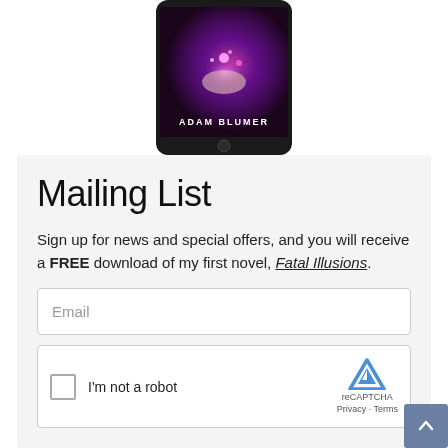[Figure (photo): Tablet device showing a book cover with a hand holding glowing magic light, titled 'ADAM BLUMER' at the bottom. The book is a dark fantasy/thriller cover with purple and pink magical effects.]
Mailing List
Sign up for news and special offers, and you will receive a FREE download of my first novel, Fatal Illusions.
Email
[Figure (screenshot): reCAPTCHA widget with checkbox and 'I'm not a robot' label, reCAPTCHA logo, Privacy and Terms links.]